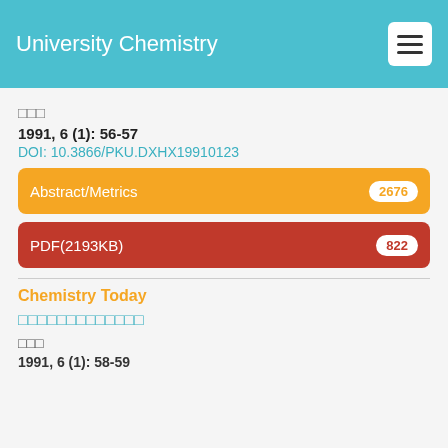University Chemistry
□□□
1991, 6 (1): 56-57
DOI: 10.3866/PKU.DXHX19910123
Abstract/Metrics 2676
PDF(2193KB) 822
Chemistry Today
□□□□□□□□□□□□□
□□□
1991, 6 (1): 58-59